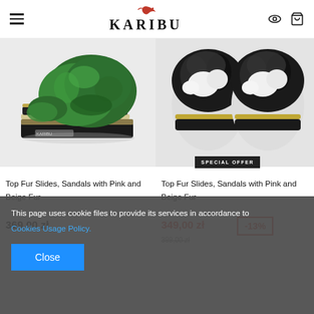KARIBU
[Figure (photo): Green fur slide sandal with chain detail on black platform sole, viewed from side]
[Figure (photo): Black and white fur slide sandals with chain detail, viewed from above]
SPECIAL OFFER
Top Fur Slides, Sandals with Pink and Beige Fur
369,00 zł
Top Fur Slides, Sandals with Pink and Beige Fur
349,00 zł
399,00 zł
-13%
This page uses cookie files to provide its services in accordance to Cookies Usage Policy.
Close